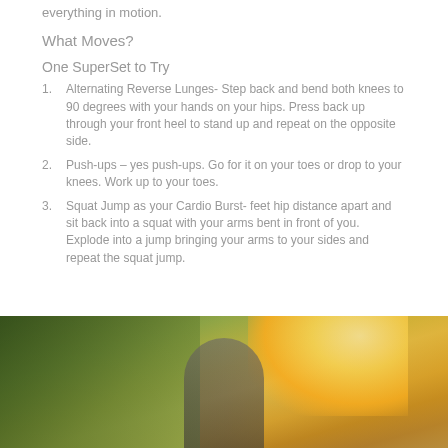everything in motion.
What Moves?
One SuperSet to Try
Alternating Reverse Lunges- Step back and bend both knees to 90 degrees with your hands on your hips. Press back up through your front heel to stand up and repeat on the opposite side.
Push-ups – yes push-ups. Go for it on your toes or drop to your knees. Work up to your toes.
Squat Jump as your Cardio Burst- feet hip distance apart and sit back into a squat with your arms bent in front of you. Explode into a jump bringing your arms to your sides and repeat the squat jump.
[Figure (photo): Person running outdoors in a forest/nature setting with bright sunlight and trees in the background]